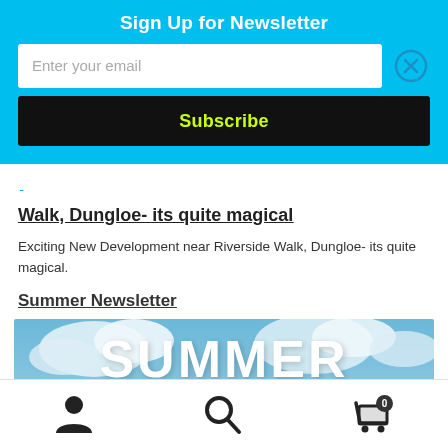Sign Up for Newsletter
Enter your email
Subscribe
Walk, Dungloe- its quite magical
Exciting New Development near Riverside Walk, Dungloe- its quite magical.
Summer Newsletter
[Figure (photo): Summer 2022 banner image with sky and clouds background, large white text reading SUMMER 2022]